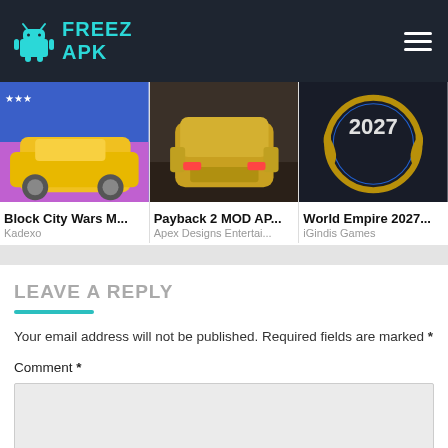FreezAPK
[Figure (screenshot): Block City Wars M... game card with yellow car image, developer: Kadexo]
[Figure (screenshot): Payback 2 MOD AP... game card with yellow car image, developer: Apex Designs Entertai...]
[Figure (screenshot): World Empire 2027... game card with 2027 logo image, developer: iGindis Games]
LEAVE A REPLY
Your email address will not be published. Required fields are marked *
Comment *